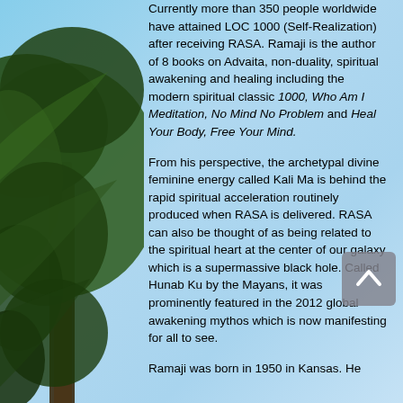Currently more than 350 people worldwide have attained LOC 1000 (Self-Realization) after receiving RASA. Ramaji is the author of 8 books on Advaita, non-duality, spiritual awakening and healing including the modern spiritual classic 1000, Who Am I Meditation, No Mind No Problem and Heal Your Body, Free Your Mind.
From his perspective, the archetypal divine feminine energy called Kali Ma is behind the rapid spiritual acceleration routinely produced when RASA is delivered. RASA can also be thought of as being related to the spiritual heart at the center of our galaxy which is a supermassive black hole. Called Hunab Ku by the Mayans, it was prominently featured in the 2012 global awakening mythos which is now manifesting for all to see.
Ramaji was born in 1950 in Kansas. He